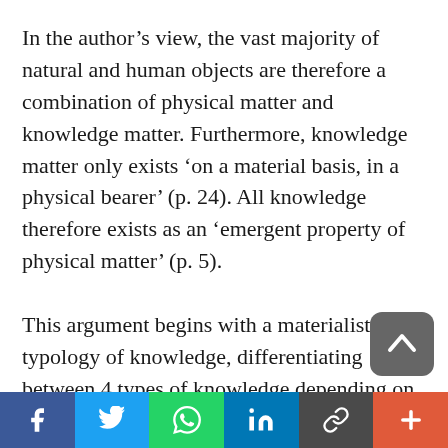In the author's view, the vast majority of natural and human objects are therefore a combination of physical matter and knowledge matter. Furthermore, knowledge matter only exists 'on a material basis, in a physical bearer' (p. 24). All knowledge therefore exists as an 'emergent property of physical matter' (p. 5).
This argument begins with a materialist typology of knowledge, differentiating between 4 types of knowledge depending on